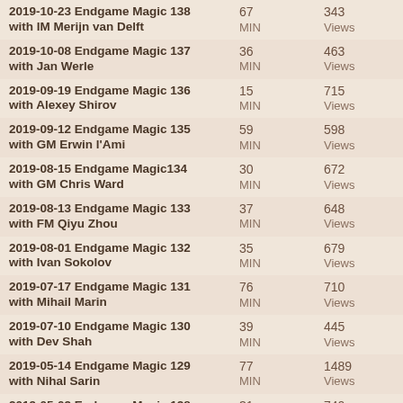| Title | MIN | Views |
| --- | --- | --- |
| 2019-10-23 Endgame Magic 138 with IM Merijn van Delft | 67 MIN | 343 Views |
| 2019-10-08 Endgame Magic 137 with Jan Werle | 36 MIN | 463 Views |
| 2019-09-19 Endgame Magic 136 with Alexey Shirov | 15 MIN | 715 Views |
| 2019-09-12 Endgame Magic 135 with GM Erwin l'Ami | 59 MIN | 598 Views |
| 2019-08-15 Endgame Magic134 with GM Chris Ward | 30 MIN | 672 Views |
| 2019-08-13 Endgame Magic 133 with FM Qiyu Zhou | 37 MIN | 648 Views |
| 2019-08-01 Endgame Magic 132 with Ivan Sokolov | 35 MIN | 679 Views |
| 2019-07-17 Endgame Magic 131 with Mihail Marin | 76 MIN | 710 Views |
| 2019-07-10 Endgame Magic 130 with Dev Shah | 39 MIN | 445 Views |
| 2019-05-14 Endgame Magic 129 with Nihal Sarin | 77 MIN | 1489 Views |
| 2019-05-02 Endgame Magic 128 | 31 MIN | 740 Views |